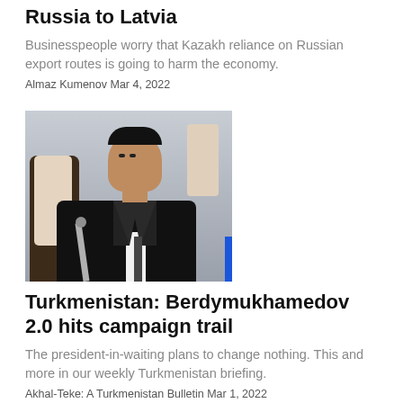Russia to Latvia
Businesspeople worry that Kazakh reliance on Russian export routes is going to harm the economy.
Almaz Kumenov Mar 4, 2022
[Figure (photo): Portrait photo of a man in a dark suit seated at a table, with a microphone in the foreground and a blue accent bar at the bottom right corner.]
Turkmenistan: Berdymukhamedov 2.0 hits campaign trail
The president-in-waiting plans to change nothing. This and more in our weekly Turkmenistan briefing.
Akhal-Teke: A Turkmenistan Bulletin Mar 1, 2022